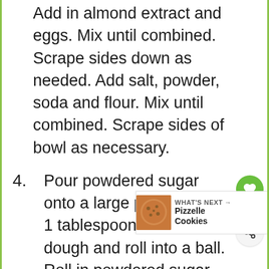Add in almond extract and eggs. Mix until combined. Scrape sides down as needed. Add salt, powder, soda and flour. Mix until combined. Scrape sides of bowl as necessary.
4. Pour powdered sugar onto a large plate. Scoop 1 tablespoon portions of dough and roll into a ball. Roll in powdered sugar until coated. Place on baking sheet and repeat with remaining dough. I made 12 per sheet, but you could easily fit 18.
5. Bake for 9-11 minutes or until bottoms begin to barely brown cookies look matte. Remove from